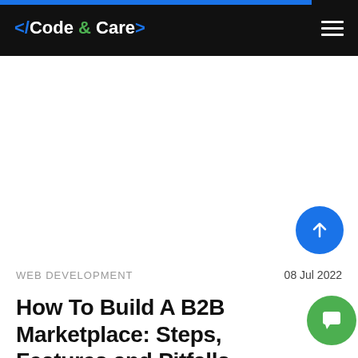</Code & Care>
WEB DEVELOPMENT
08 Jul 2022
How To Build A B2B Marketplace: Steps, Features and Pitfalls